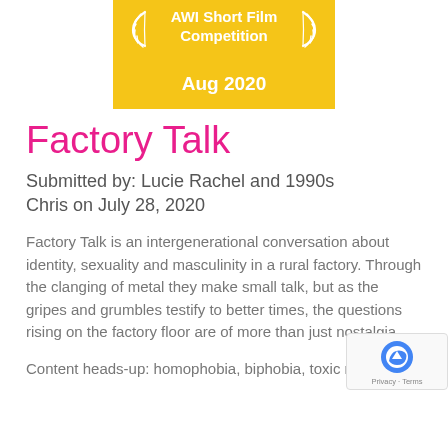[Figure (logo): AWI Short Film Competition badge with golden background, laurel wreaths on either side, text 'AWI Short Film Competition' and 'Aug 2020']
Factory Talk
Submitted by: Lucie Rachel and 1990s Chris on July 28, 2020
Factory Talk is an intergenerational conversation about identity, sexuality and masculinity in a rural factory. Through the clanging of metal they make small talk, but as the gripes and grumbles testify to better times, the questions rising on the factory floor are of more than just nostalgia.
Content heads-up: homophobia, biphobia, toxic masculinity